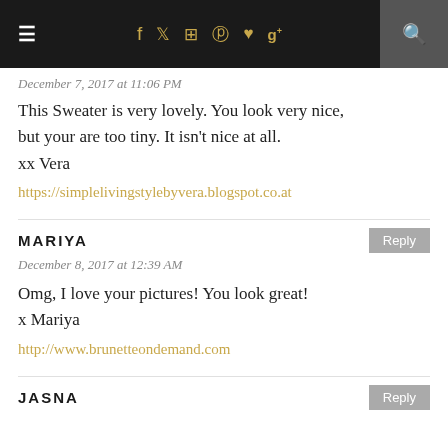≡  f  twitter  instagram  pinterest  heart  g+  search
December 7, 2017 at 11:06 PM
This Sweater is very lovely. You look very nice, but your are too tiny. It isn't nice at all.
xx Vera
https://simplelivingstylebyvera.blogspot.co.at
MARIYA
December 8, 2017 at 12:39 AM
Omg, I love your pictures! You look great!
x Mariya
http://www.brunetteondemand.com
JASNA